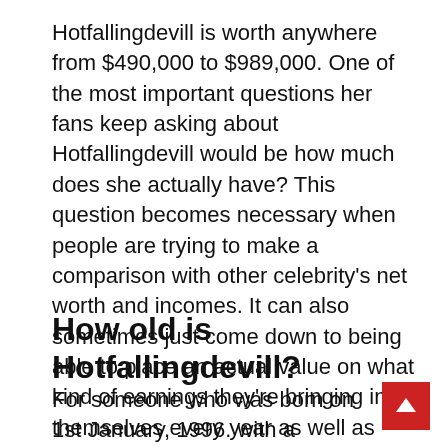Hotfallingdevill is worth anywhere from $490,000 to $989,000. One of the most important questions her fans keep asking about Hotfallingdevill would be how much does she actually have? This question becomes necessary when people are trying to make a comparison with other celebrity's net worth and incomes. It can also sometimes just come down to being able to place an actual value on what kind of earnings they're bringing in for themselves every year as well as their status within society or culture today.
How old is Hotfallingdevill?
For someone who was born on 1st January, 1996. with a Zodiac sign of